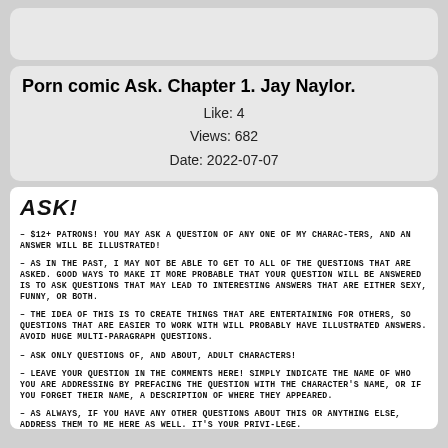Porn comic Ask. Chapter 1. Jay Naylor.
Like: 4
Views: 682
Date: 2022-07-07
ASK!
– $12+ PATRONS! YOU MAY ASK A QUESTION OF ANY ONE OF MY CHARACTERS, AND AN ANSWER WILL BE ILLUSTRATED!
– AS IN THE PAST, I MAY NOT BE ABLE TO GET TO ALL OF THE QUESTIONS THAT ARE ASKED. GOOD WAYS TO MAKE IT MORE PROBABLE THAT YOUR QUESTION WILL BE ANSWERED IS TO ASK QUESTIONS THAT MAY LEAD TO INTERESTING ANSWERS THAT ARE EITHER SEXY, FUNNY, OR BOTH.
– THE IDEA OF THIS IS TO CREATE THINGS THAT ARE ENTERTAINING FOR OTHERS, SO QUESTIONS THAT ARE EASIER TO WORK WITH WILL PROBABLY HAVE ILLUSTRATED ANSWERS. AVOID HUGE MULTI-PARAGRAPH QUESTIONS.
– ASK ONLY QUESTIONS OF, AND ABOUT, ADULT CHARACTERS!
– LEAVE YOUR QUESTION IN THE COMMENTS HERE! SIMPLY INDICATE THE NAME OF WHO YOU ARE ADDRESSING BY PREFACING THE QUESTION WITH THE CHARACTER'S NAME, OR IF YOU FORGET THEIR NAME, A DESCRIPTION OF WHERE THEY APPEARED.
– AS ALWAYS, IF YOU HAVE ANY OTHER QUESTIONS ABOUT THIS OR ANYTHING ELSE, ADDRESS THEM TO ME HERE AS WELL. IT'S YOUR PRIVI-LEGE.